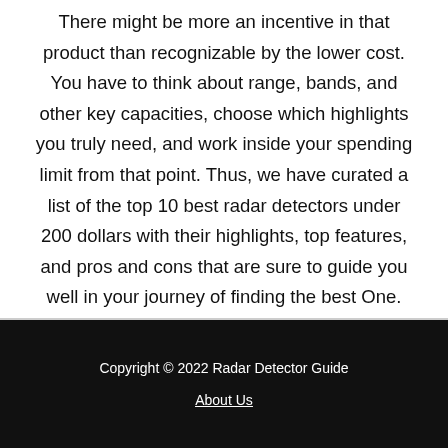There might be more an incentive in that product than recognizable by the lower cost. You have to think about range, bands, and other key capacities, choose which highlights you truly need, and work inside your spending limit from that point. Thus, we have curated a list of the top 10 best radar detectors under 200 dollars with their highlights, top features, and pros and cons that are sure to guide you well in your journey of finding the best One.
Copyright © 2022 Radar Detector Guide
About Us